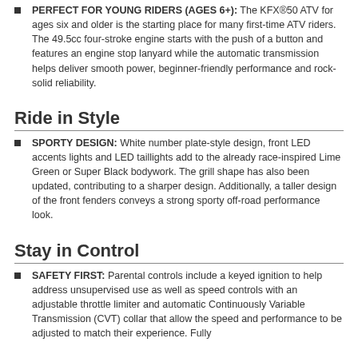PERFECT FOR YOUNG RIDERS (AGES 6+): The KFX®50 ATV for ages six and older is the starting place for many first-time ATV riders. The 49.5cc four-stroke engine starts with the push of a button and features an engine stop lanyard while the automatic transmission helps deliver smooth power, beginner-friendly performance and rock-solid reliability.
Ride in Style
SPORTY DESIGN: White number plate-style design, front LED accents lights and LED taillights add to the already race-inspired Lime Green or Super Black bodywork. The grill shape has also been updated, contributing to a sharper design. Additionally, a taller design of the front fenders conveys a strong sporty off-road performance look.
Stay in Control
SAFETY FIRST: Parental controls include a keyed ignition to help address unsupervised use as well as speed controls with an adjustable throttle limiter and automatic Continuously Variable Transmission (CVT) collar that allow the speed and performance to be adjusted to match their experience. Fully...